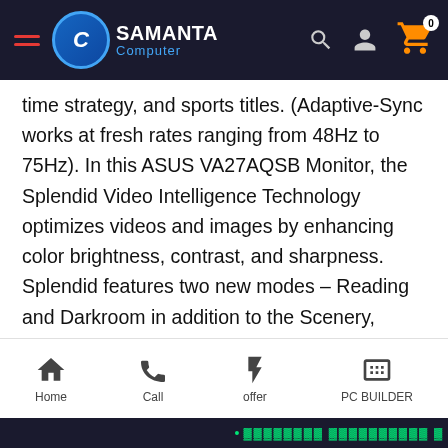Samanta Computer
time strategy, and sports titles. (Adaptive-Sync works at fresh rates ranging from 48Hz to 75Hz). In this ASUS VA27AQSB Monitor, the Splendid Video Intelligence Technology optimizes videos and images by enhancing color brightness, contrast, and sharpness. Splendid features two new modes – Reading and Darkroom in addition to the Scenery, Standard, Theater, sRGB, and Night View modes. Low-blue Light and Flicker-free technologies also reduce the strain on your eyes after long periods of
Home  Call  offer  PC BUILDER